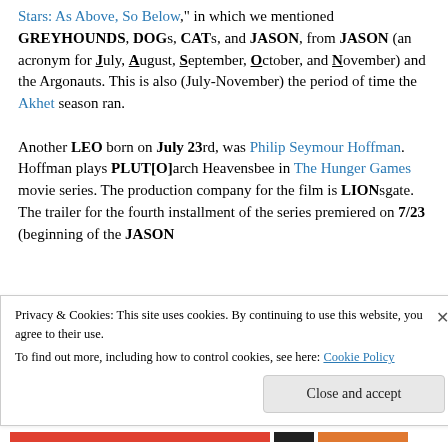Stars: As Above, So Below," in which we mentioned GREYHOUNDS, DOGs, CATs, and JASON, from JASON (an acronym for July, August, September, October, and November) and the Argonauts. This is also (July-November) the period of time the Akhet season ran.

Another LEO born on July 23rd, was Philip Seymour Hoffman. Hoffman plays PLUT[O]arch Heavensbee in The Hunger Games movie series. The production company for the film is LIONsgate. The trailer for the fourth installment of the series premiered on 7/23 (beginning of the JASON month) and the film is set to be released at the end of...
Privacy & Cookies: This site uses cookies. By continuing to use this website, you agree to their use.
To find out more, including how to control cookies, see here: Cookie Policy